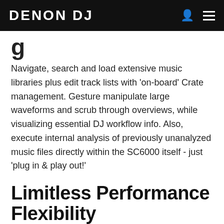DENON DJ
g
Navigate, search and load extensive music libraries plus edit track lists with 'on-board' Crate management. Gesture manipulate large waveforms and scrub through overviews, while visualizing essential DJ workflow info. Also, execute internal analysis of previously unanalyzed music files directly within the SC6000 itself - just 'plug in & play out!'
Limitless Performance Flexibility
Exceed any previous DJ performance boundaries! The SC6000 is dual-layer capable, playing two separate